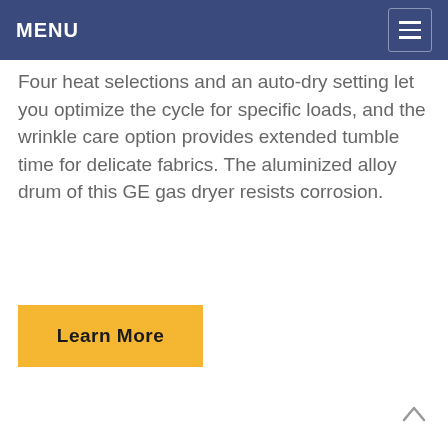MENU
Four heat selections and an auto-dry setting let you optimize the cycle for specific loads, and the wrinkle care option provides extended tumble time for delicate fabrics. The aluminized alloy drum of this GE gas dryer resists corrosion.
Learn More